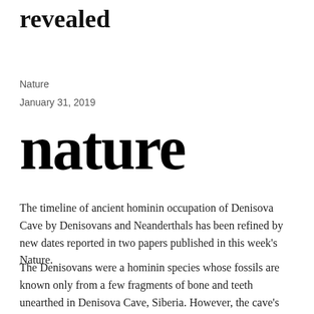revealed
Nature
January 31, 2019
[Figure (logo): Nature journal logo in large bold serif font]
The timeline of ancient hominin occupation of Denisova Cave by Denisovans and Neanderthals has been refined by new dates reported in two papers published in this week's Nature.
The Denisovans were a hominin species whose fossils are known only from a few fragments of bone and teeth unearthed in Denisova Cave, Siberia. However, the cave's size and complexity has made it difficult to reliably unpick the full history of hominin occupation.